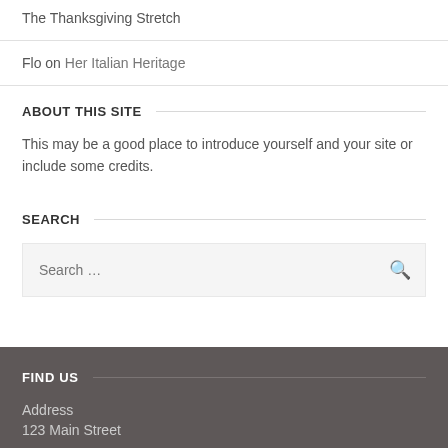The Thanksgiving Stretch
Flo on Her Italian Heritage
ABOUT THIS SITE
This may be a good place to introduce yourself and your site or include some credits.
SEARCH
Search …
FIND US
Address
123 Main Street